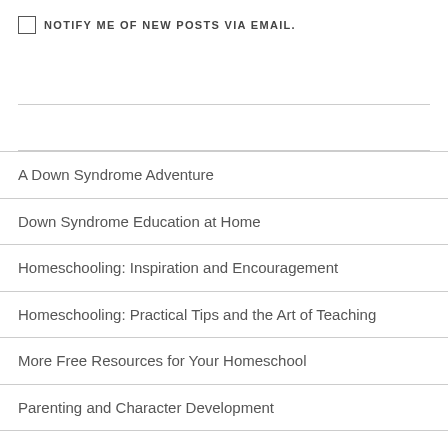NOTIFY ME OF NEW POSTS VIA EMAIL.
A Down Syndrome Adventure
Down Syndrome Education at Home
Homeschooling: Inspiration and Encouragement
Homeschooling: Practical Tips and the Art of Teaching
More Free Resources for Your Homeschool
Parenting and Character Development
Ponderings
Raising Saints (or at least trying to!)